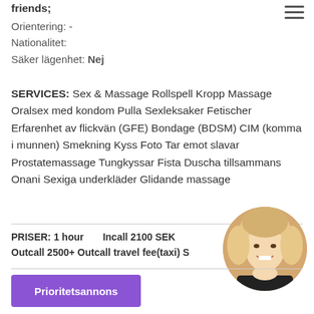friends;
Orientering: -
Nationalitet:
Säker lägenhet: Nej
SERVICES: Sex & Massage Rollspell Kropp Massage Oralsex med kondom Pulla Sexleksaker Fetischer Erfarenhet av flickvän (GFE) Bondage (BDSM) CIM (komma i munnen) Smekning Kyss Foto Tar emot slavar Prostatemassage Tungkyssar Fista Duscha tillsammans Onani Sexiga underkläder Glidande massage
PRISER: 1 hour   Incall 2100 SEK
Outcall 2500+ Outcall travel fee(taxi) S
[Figure (photo): Circular profile photo of a blonde woman in black lingerie, smiling, cropped to circular frame]
Prioritetsannons